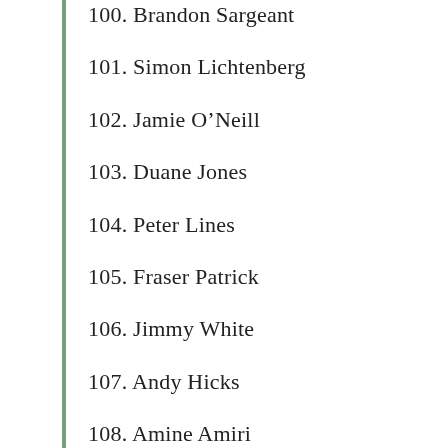100. Brandon Sargeant
101. Simon Lichtenberg
102. Jamie O’Neill
103. Duane Jones
104. Peter Lines
105. Fraser Patrick
106. Jimmy White
107. Andy Hicks
108. Amine Amiri
109. Alex Borg